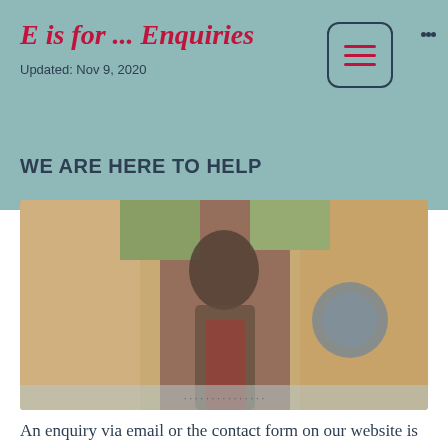E is for ... Enquiries
Updated: Nov 9, 2020
WE ARE HERE TO HELP
[Figure (photo): Blurred photo of a woman with dark hair standing in front of colourful background items]
An enquiry via email or the contact form on our website is often the first step on